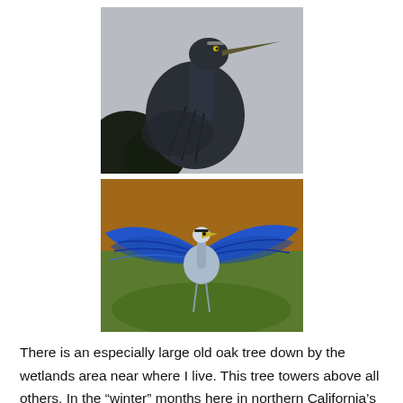[Figure (photo): Close-up photo of a Great Blue Heron shown in profile against a grey sky, with dark plumage and long beak, perched near dark foliage. The bird appears very dark / silhouetted.]
[Figure (photo): Photo of a Great Blue Heron with wings fully spread, showing vivid blue feathers, standing in a wetland setting with orange-brown dried grasses and green mossy ground.]
There is an especially large old oak tree down by the wetlands area near where I live. This tree towers above all others. In the “winter” months here in northern California’s rolling foothills of the Sierras, there is no real snow – you